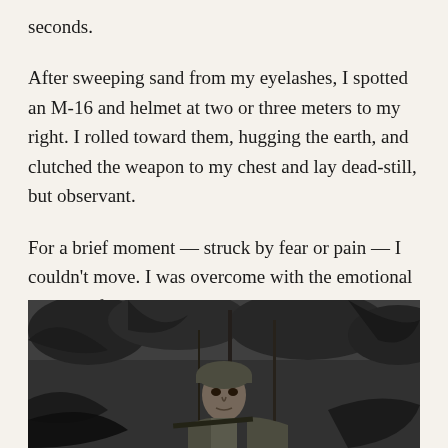seconds.
After sweeping sand from my eyelashes, I spotted an M-16 and helmet at two or three meters to my right. I rolled toward them, hugging the earth, and clutched the weapon to my chest and lay dead-still, but observant.
For a brief moment — struck by fear or pain — I couldn't move. I was overcome with the emotional rupture of death. My heart pounded in my throat.
[Figure (photo): Black and white photograph of a soldier in a helmet crouching among jungle vegetation, looking forward with an intense expression.]